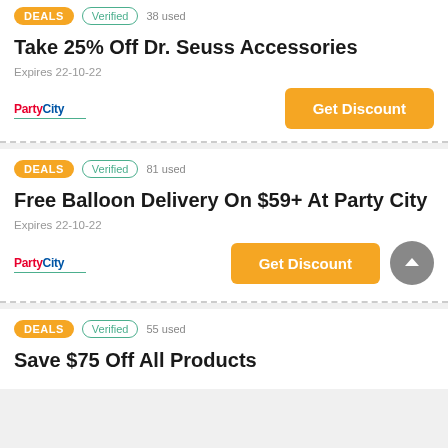DEALS  Verified  38 used
Take 25% Off Dr. Seuss Accessories
Expires 22-10-22
PartyCity  Get Discount
DEALS  Verified  81 used
Free Balloon Delivery On $59+ At Party City
Expires 22-10-22
PartyCity  Get Discount
DEALS  Verified  55 used
Save $75 Off All Products